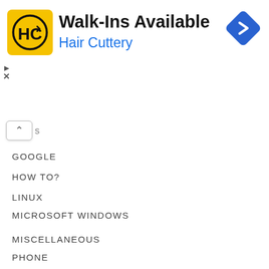[Figure (logo): Hair Cuttery advertisement banner with HC logo, text 'Walk-Ins Available' and 'Hair Cuttery', blue diamond navigation arrow icon, and ad close markers]
GOOGLE
HOW TO?
LINUX
MICROSOFT WINDOWS
MISCELLANEOUS
PHONE
SNIPPETS
AUTOHOTKEY SNIPPETS
CSS SNIPPETS
HTACCESS SNIPPETS